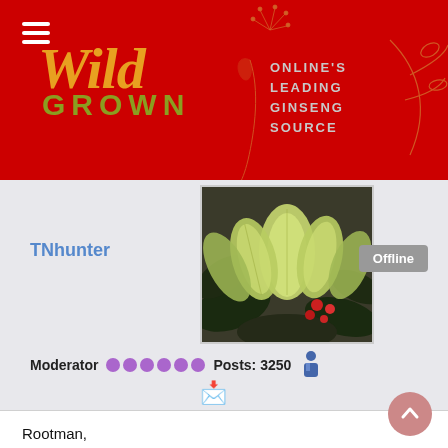[Figure (logo): Wild Grown logo — red banner background with 'Wild Grown' text in gold/olive and tagline 'ONLINE'S LEADING GINSENG SOURCE' in grey]
[Figure (photo): Avatar photo of plant with large pale green flower/seed pods and red berries among dark leaves — ginseng plant]
TNhunter
Offline
Moderator   Posts: 3250
Rootman,
You are right that those that dig before season really hurt the population. They don't care if the seng has had a chance to